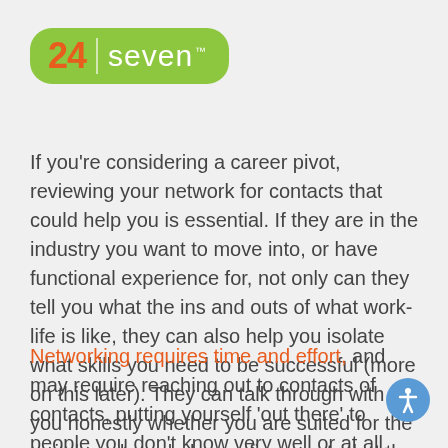[Figure (logo): 24 Seven logo — green pill-shaped background with orange '24', white divider, white 'seven' text and TM mark]
If you're considering a career pivot, reviewing your network for contacts that could help you is essential. If they are in the industry you want to move into, or have functional experience for, not only can they tell you what the ins and outs of what work-life is like, they can also help you isolate what skills you need to be successful (more on this later). They can talk through with you honestly whether you are suited for the switch and can help you figure out what the next steps will be to move you closer to your goal.
Networking requires time and effort, and may require reaching out to contacts of contacts, putting yourself 'out there' to people you don't know very well or at all. Always be polite in your communication and follow up without being